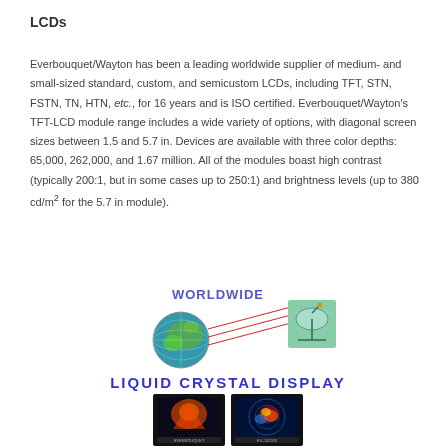LCDs
Everbouquet/Wayton has been a leading worldwide supplier of medium- and small-sized standard, custom, and semicustom LCDs, including TFT, STN, FSTN, TN, HTN, etc., for 16 years and is ISO certified. Everbouquet/Wayton's TFT-LCD module range includes a wide variety of options, with diagonal screen sizes between 1.5 and 5.7 in. Devices are available with three color depths: 65,000, 262,000, and 1.67 million. All of the modules boast high contrast (typically 200:1, but in some cases up to 250:1) and brightness levels (up to 380 cd/m² for the 5.7 in module).
[Figure (illustration): Globe with satellite dish illustration labeled WORLDWIDE, followed by LIQUID CRYSTAL DISPLAY heading in blue, three LCD screen images shown, and Everbouquet International logo/text at bottom.]